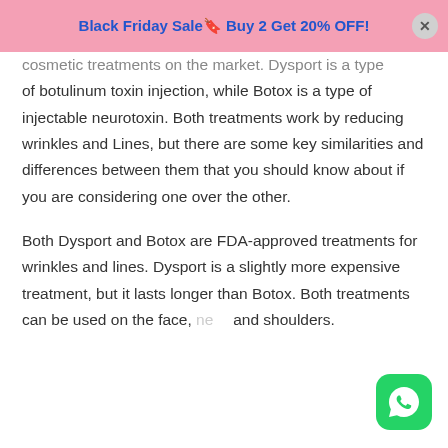Black Friday Sale🔖 Buy 2 Get 20% OFF!
cosmetic treatments on the market. Dysport is a type of botulinum toxin injection, while Botox is a type of injectable neurotoxin. Both treatments work by reducing wrinkles and Lines, but there are some key similarities and differences between them that you should know about if you are considering one over the other.
Both Dysport and Botox are FDA-approved treatments for wrinkles and lines. Dysport is a slightly more expensive treatment, but it lasts longer than Botox. Both treatments can be used on the face, neck and shoulders.